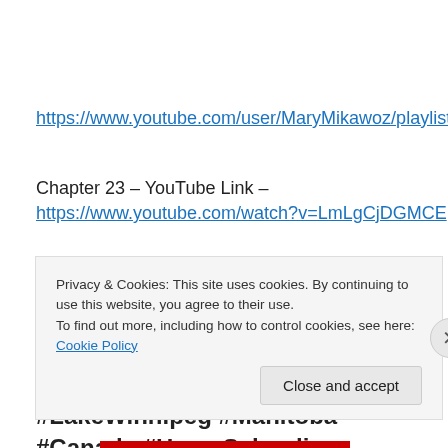https://www.youtube.com/user/MaryMikawoz/playlists
Chapter 23 – YouTube Link –
https://www.youtube.com/watch?v=LmLgCjDGMCE
#Canadian #Author #Teachers #FictionFantasy #MiddleYears #School #Education #Parents #Preteens #LakeWinnipeg #Manitoba #Canada #HomeSchooling
Privacy & Cookies: This site uses cookies. By continuing to use this website, you agree to their use.
To find out more, including how to control cookies, see here: Cookie Policy
Close and accept